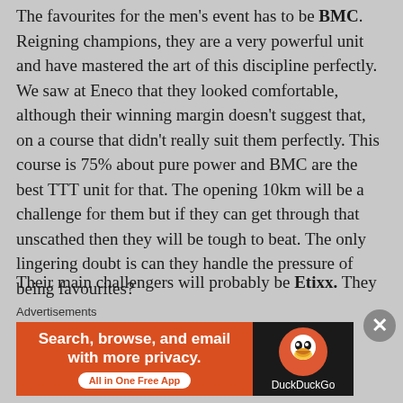The favourites for the men's event has to be BMC. Reigning champions, they are a very powerful unit and have mastered the art of this discipline perfectly. We saw at Eneco that they looked comfortable, although their winning margin doesn't suggest that, on a course that didn't really suit them perfectly. This course is 75% about pure power and BMC are the best TTT unit for that. The opening 10km will be a challenge for them but if they can get through that unscathed then they will be tough to beat. The only lingering doubt is can they handle the pressure of being favourites?
Their main challengers will probably be Etixx. They were the team that ran them closest at Eneco and are
Advertisements
[Figure (other): DuckDuckGo advertisement banner: orange left side with text 'Search, browse, and email with more privacy. All in One Free App' and dark right side with DuckDuckGo logo and name.]